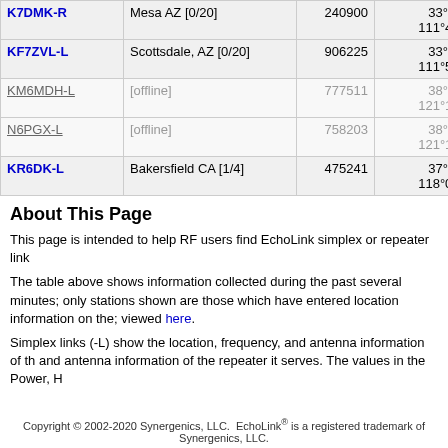| Callsign | Location | Node | Coordinates | Grid |  |
| --- | --- | --- | --- | --- | --- |
| K7DMK-R | Mesa AZ [0/20] | 240900 | 33°26.47' N
111°44.52' W | DM43dk | 5 |
| KF7ZVL-L | Scottsdale, AZ [0/20] | 906225 | 33°29.70' N
111°50.82' W | DM43bl | 5 |
| KM6MDH-L | [offline] | 777511 | 38°45.18' N
121°16.92' W | CM98is | 5 |
| N6PGX-L | [offline] | 758203 | 38°45.00' N
121°17.04' W | CM98is | 5 |
| KR6DK-L | Bakersfield CA [1/4] | 475241 | 37°00.00' N
118°00.00' W | DM17aa | 5 |
About This Page
This page is intended to help RF users find EchoLink simplex or repeater link
The table above shows information collected during the past several minutes; only stations shown are those which have entered location information on the; viewed here.
Simplex links (-L) show the location, frequency, and antenna information of th and antenna information of the repeater it serves. The values in the Power, H
Copyright © 2002-2020 Synergenics, LLC.  EchoLink® is a registered trademark of Synergenics, LLC.